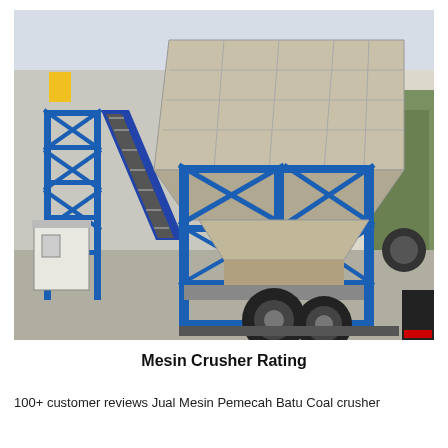[Figure (photo): Photo of a mobile concrete batching plant / crusher machine with blue steel frame structure, large hopper on top, conveyor belt on the left side, a small white control cabin, and mounted on a wheeled trailer. Outdoor setting with trees and building in background.]
Mesin Crusher Rating
100+ customer reviews Jual Mesin Pemecah Batu Coal crusher